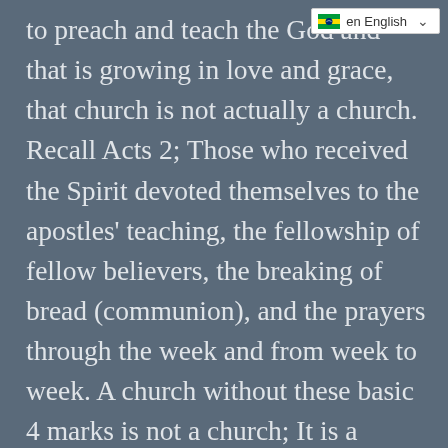en English
to preach and teach the God and that is growing in love and grace, that church is not actually a church. Recall Acts 2; Those who received the Spirit devoted themselves to the apostles' teaching, the fellowship of fellow believers, the breaking of bread (communion), and the prayers through the week and from week to week. A church without these basic 4 marks is not a church; It is a social club full of unregenerate members who know not the Holy Spirit, and they refer to themselves as a church. So we don't ask